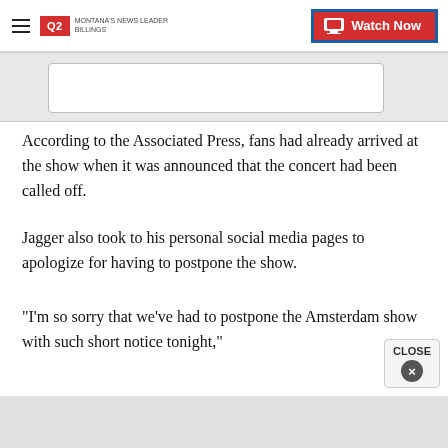Q2 MONTANA'S NEWS LEADER | Watch Now
[Figure (screenshot): Gray bar with white inner box placeholder image area]
According to the Associated Press, fans had already arrived at the show when it was announced that the concert had been called off.
Jagger also took to his personal social media pages to apologize for having to postpone the show.
"I'm so sorry that we've had to postpone the Amsterdam show with such short notice tonight,"